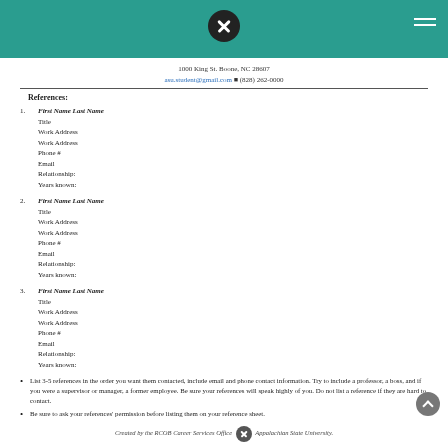1000 King St. Boone, NC 28607
asu.student@gmail.com ■ (828) 262-0000
References:
1. First Name Last Name
Title
Work Address
Work Address
Phone #
Email
Relationship:
Years known:
2. First Name Last Name
Title
Work Address
Work Address
Phone #
Email
Relationship:
Years known:
3. First Name Last Name
Title
Work Address
Work Address
Phone #
Email
Relationship:
Years known:
List 3-5 references in the order you want them contacted, include email and phone contact information. Try to include a professor, a boss, and if you were a supervisor or manager, a former employee. Be sure your references will speak highly of you. Do not list a reference if they are hard to contact.
Be sure to ask your references' permission before listing them on your reference sheet.
DO NOT include your reference sheet in an application unless specifically mentioned. Employers don't want this until they specifically ask for it, usually after an interview (take it to an interview just in case).
Created by the RCOB Career Services Office ✕ Appalachian State University.